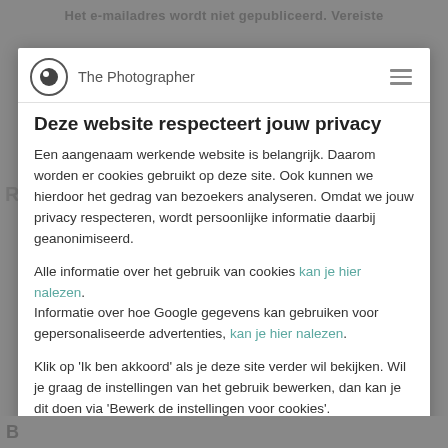[Figure (screenshot): Website cookie consent modal overlay on a photography website called 'The Photographer'. The modal contains a privacy notice in Dutch explaining cookie usage and options to accept or edit cookie settings.]
Deze website respecteert jouw privacy
Een aangenaam werkende website is belangrijk. Daarom worden er cookies gebruikt op deze site. Ook kunnen we hierdoor het gedrag van bezoekers analyseren. Omdat we jouw privacy respecteren, wordt persoonlijke informatie daarbij geanonimiseerd.
Alle informatie over het gebruik van cookies kan je hier nalezen. Informatie over hoe Google gegevens kan gebruiken voor gepersonaliseerde advertenties, kan je hier nalezen.
Klik op 'Ik ben akkoord' als je deze site verder wil bekijken. Wil je graag de instellingen van het gebruik bewerken, dan kan je dit doen via 'Bewerk de instellingen voor cookies'.